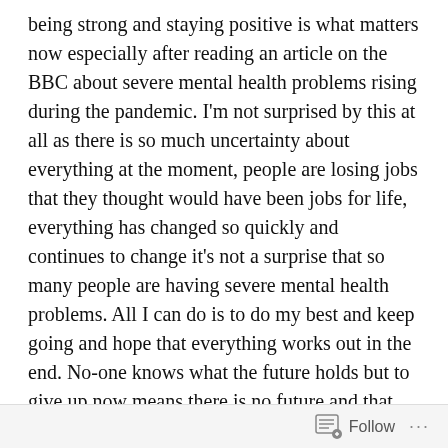being strong and staying positive is what matters now especially after reading an article on the BBC about severe mental health problems rising during the pandemic. I'm not surprised by this at all as there is so much uncertainty about everything at the moment, people are losing jobs that they thought would have been jobs for life, everything has changed so quickly and continues to change it's not a surprise that so many people are having severe mental health problems. All I can do is to do my best and keep going and hope that everything works out in the end. No-one knows what the future holds but to give up now means there is no future and that for me is unthinkable. I have a future and I am going to live it to the fullest I can.
11:25am. Popping to Tesco's for a bottle of non alcoholic wine for tonight. I wasn't properly prepared last week and I paid the price in the last few miles. Today is a day of
Follow ···